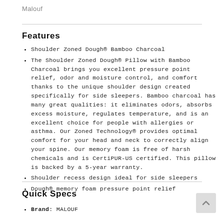Malouf
Features
Shoulder Zoned Dough® Bamboo Charcoal
The Shoulder Zoned Dough® Pillow with Bamboo Charcoal brings you excellent pressure point relief, odor and moisture control, and comfort thanks to the unique shoulder design created specifically for side sleepers. Bamboo charcoal has many great qualities: it eliminates odors, absorbs excess moisture, regulates temperature, and is an excellent choice for people with allergies or asthma. Our Zoned Technology® provides optimal comfort for your head and neck to correctly align your spine. Our memory foam is free of harsh chemicals and is CertiPUR-US certified. This pillow is backed by a 5-year warranty.
Shoulder recess design ideal for side sleepers
Dough® memory foam pressure point relief
Quick Specs
Brand: MALOUF